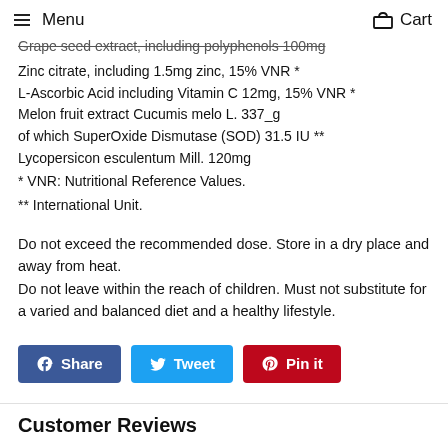Menu  Cart
Grape seed extract, including polyphenols 100mg
Zinc citrate, including 1.5mg zinc, 15% VNR *
L-Ascorbic Acid including Vitamin C 12mg, 15% VNR *
Melon fruit extract Cucumis melo L. 337_g
of which SuperOxide Dismutase (SOD) 31.5 IU **
Lycopersicon esculentum Mill. 120mg
* VNR: Nutritional Reference Values.
** International Unit.
Do not exceed the recommended dose. Store in a dry place and away from heat.
Do not leave within the reach of children. Must not substitute for a varied and balanced diet and a healthy lifestyle.
Customer Reviews